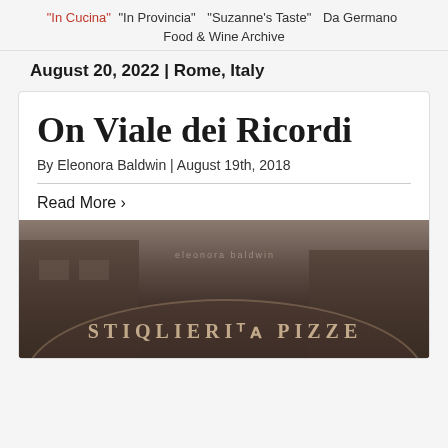"In Cucina"  "In Provincia"  "Suzanne's Taste"  Da Germano
Food & Wine Archive
August 20, 2022 | Rome, Italy
On Viale dei Ricordi
By Eleonora Baldwin | August 19th, 2018
Read More ›
[Figure (photo): Black and white photo of a curved building sign reading 'PISTIGLIERIA PIZZE' (partial), a Roman restaurant/pizzeria facade]